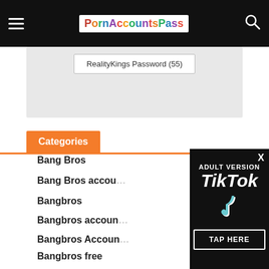PornAccountsPass
RealityKings Password (55)
Categories
Bang Bros
Bang Bros accou…
Bangbros
Bangbros accoun…
Bangbros Accoun…
Bangbros free
Bangbros free ac…
Bangbros Free Ac…
Bangbros free pa…
[Figure (photo): Person posing, partially visible, with popup advertisement overlay for TikTok Adult Version]
ADULT VERSION
TikTok
TAP HERE